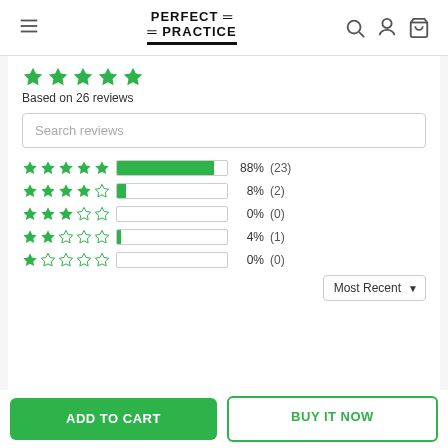PERFECT PRACTICE
Based on 26 reviews
[Figure (bar-chart): Rating distribution]
Most Recent